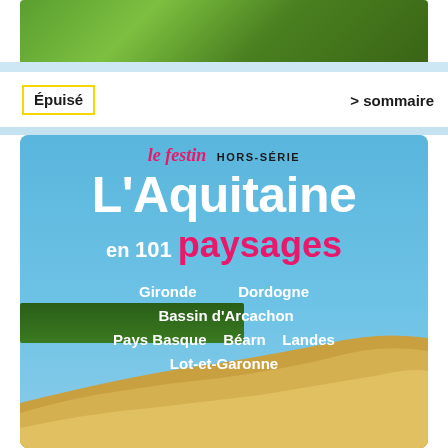[Figure (photo): Green forest/trees photo strip at the top of the page]
Épuisé
> sommaire
[Figure (photo): Magazine cover for 'le festin HORS-SÉRIE' showing L'Aquitaine en 101 paysages with a sand dune landscape photo and region names: Gironde, Dordogne, Bassin d'Arcachon, Pays Basque, Béarn, Landes, Lot-et-Garonne]